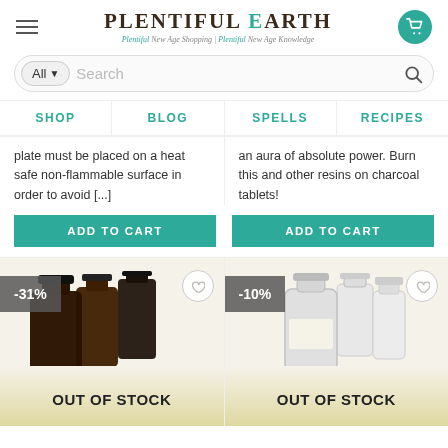[Figure (logo): Plentiful Earth logo with teal and brown text, tagline: Plentiful New Age Shopping | Plentiful New Age Knowledge]
Search (All dropdown, search bar)
SHOP | BLOG | SPELLS | RECIPES navigation
plate must be placed on a heat safe non-flammable surface in order to avoid [...]
an aura of absolute power. Burn this and other resins on charcoal tablets!
ADD TO CART
ADD TO CART
[Figure (photo): Dark amber glass bottles product image with -31% discount badge and OUT OF STOCK overlay]
[Figure (photo): White glass bottles product image with -10% discount badge and OUT OF STOCK overlay]